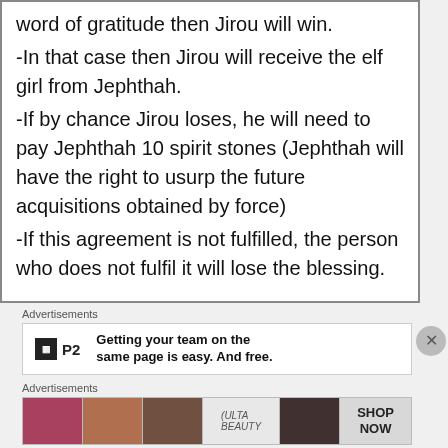word of gratitude then Jirou will win.
-In that case then Jirou will receive the elf girl from Jephthah.
-If by chance Jirou loses, he will need to pay Jephthah 10 spirit stones (Jephthah will have the right to usurp the future acquisitions obtained by force)
-If this agreement is not fulfilled, the person who does not fulfil it will lose the blessing.
Advertisements
[Figure (screenshot): P2 advertisement: Getting your team on the same page is easy. And free.]
Advertisements
[Figure (screenshot): Ulta Beauty advertisement with makeup imagery and SHOP NOW button]